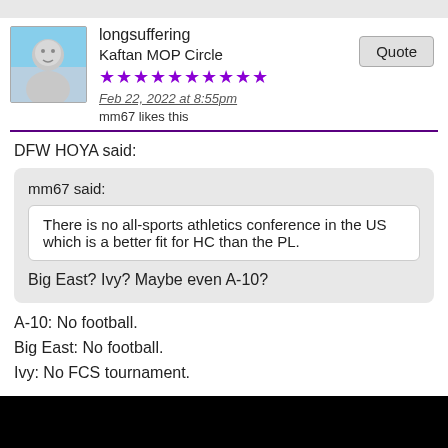longsuffering
Kaftan MOP Circle
★★★★★★★★★★
Feb 22, 2022 at 8:55pm
mm67 likes this
DFW HOYA said:
mm67 said:
There is no all-sports athletics conference in the US which is a better fit for HC than the PL.
Big East? Ivy? Maybe even A-10?
A-10: No football.
Big East: No football.
Ivy: No FCS tournament.
Of course we are not invited to any of these leagues anyway, but it would be distasteful to me to screw our co-founding PL Partners and unilaterally